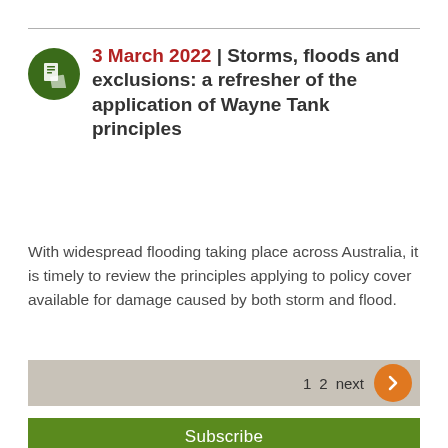3 March 2022 | Storms, floods and exclusions: a refresher of the application of Wayne Tank principles
With widespread flooding taking place across Australia, it is timely to review the principles applying to policy cover available for damage caused by both storm and flood.
1 2 next
Subscribe
Contact